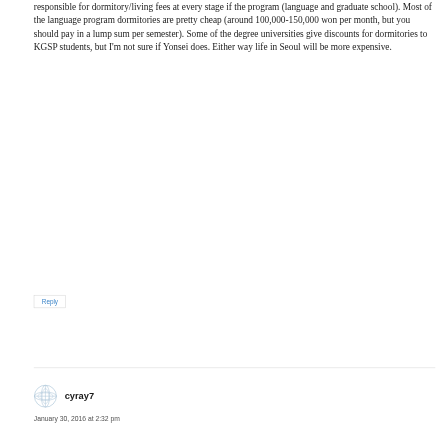responsible for dormitory/living fees at every stage if the program (language and graduate school). Most of the language program dormitories are pretty cheap (around 100,000-150,000 won per month, but you should pay in a lump sum per semester). Some of the degree universities give discounts for dormitories to KGSP students, but I'm not sure if Yonsei does. Either way life in Seoul will be more expensive.
Reply
cyray7
January 30, 2016 at 2:32 pm